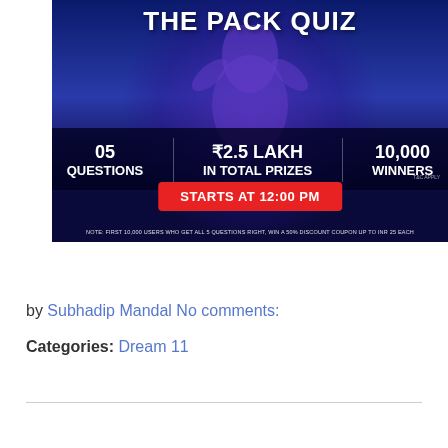[Figure (infographic): The Pack Quiz promotional banner showing a silhouette figure with arms raised, on a blue gradient background. Text shows '05 QUESTIONS', '₹2.5 LAKH IN TOTAL PRIZES', '10,000 WINNERS', 'STARTS AT 12:00 PM', and a note about first 10,000 users winning discount coupons.]
by Subhadip Mandal No comments:
Categories: Dream 11